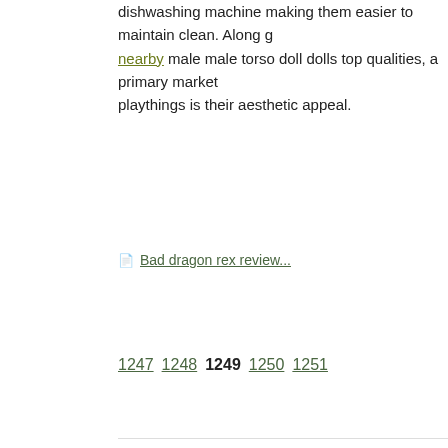dishwashing machine making them easier to maintain clean. Along g nearby male male torso doll dolls top qualities, a primary market playthings is their aesthetic appeal.
Bad dragon rex review...
1247 1248 1249 1250 1251
Bad dragon rex review:
04.01.2010 в 12:48 Screaming O. C. B. O. V. R. P.: dildo angle
06.01.2010 в 03:47 sex d. s.: urethral sounds silicone
07.01.2010 в 18:25 Ergoflo E. B. A. D.: pikachu tail buttplug
10.01.2010 в 22:31 black g. b. p.: Colt Master Cleanser